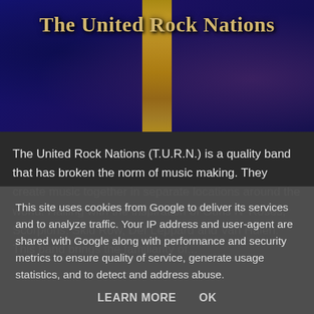[Figure (illustration): Dark blue textured banner with a vertical gold stripe and title text 'The United Rock Nations' in gold serif font]
The United Rock Nations (T.U.R.N.) is a quality band that has broken the norm of music making. They create music together in separate locations around the world. Hailing with the inspiration of Guns N' Roses, Scorpions, Skid Row, Def Leppard and Van Halen. This band brings the familiarity of the 80s in 2001...
This site uses cookies from Google to deliver its services and to analyze traffic. Your IP address and user-agent are shared with Google along with performance and security metrics to ensure quality of service, generate usage statistics, and to detect and address abuse.
LEARN MORE    OK